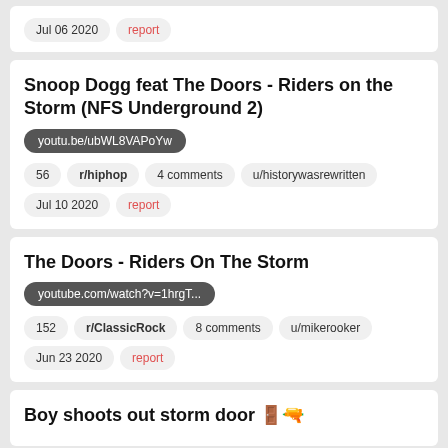Jul 06 2020  report
Snoop Dogg feat The Doors - Riders on the Storm (NFS Underground 2)
youtu.be/ubWL8VAPoYw
56  r/hiphop  4 comments  u/historywasrewritten
Jul 10 2020  report
The Doors - Riders On The Storm
youtube.com/watch?v=1hrgT...
152  r/ClassicRock  8 comments  u/mikerooker
Jun 23 2020  report
Boy shoots out storm door